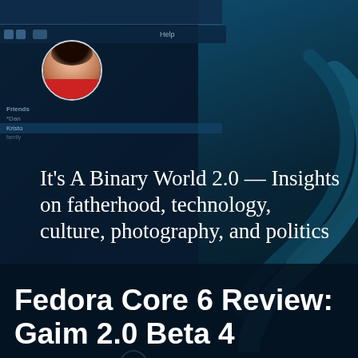[Figure (screenshot): Website header screenshot showing 'It's A Binary World 2.0' blog with dark teal background, avatar/profile image, navigation menu with Home link, social media icons (Twitch, Flickr, GitHub, Twitter, YouTube), over a background that appears to show a Linux desktop UI on the left and a decorative Fedora swirl on the right]
It's A Binary World 2.0 — Insights on fatherhood, technology, culture, photography, and politics
Home ∨   ···
Fedora Core 6 Review: Gaim 2.0 Beta 4